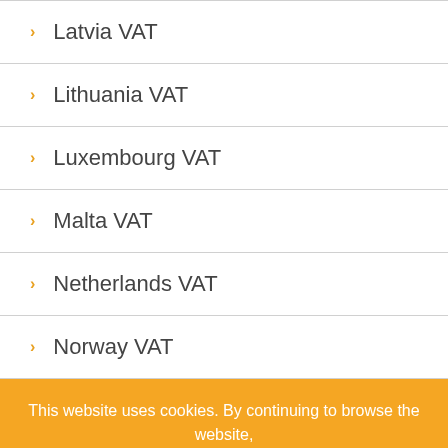Latvia VAT
Lithuania VAT
Luxembourg VAT
Malta VAT
Netherlands VAT
Norway VAT
This website uses cookies. By continuing to browse the website, you are agreeing to our use of cookies.
READ MORE
ACCEPT